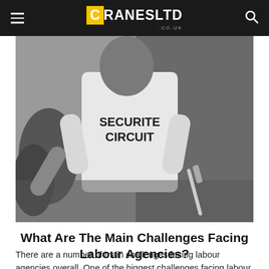CranesLTD.co.uk
[Figure (photo): Black and white photo of a person wearing a 'SECURITE CIRCUIT' t-shirt at what appears to be a sporting or public event.]
What Are The Main Challenges Facing Labour Agencies?
There are a number of main challenges facing labour agencies overall. One of the biggest challenges facing labour